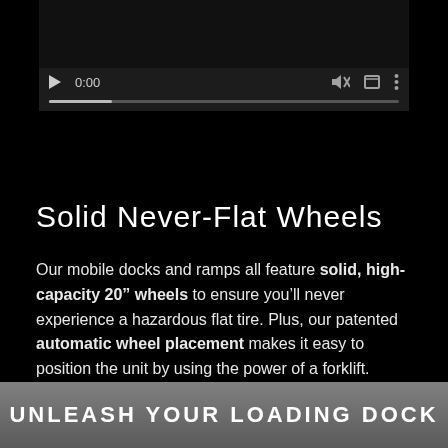[Figure (screenshot): Video player with dark background showing controls: play button, time 0:00, mute icon, fullscreen icon, menu icon, and a progress bar below]
Solid Never-Flat Wheels
Our mobile docks and ramps all feature solid, high-capacity 20" wheels to ensure you'll never experience a hazardous flat tire. Plus, our patented automatic wheel placement makes it easy to position the unit by using the power of a forklift.
UNLEASH YOUR LOADING DOCK